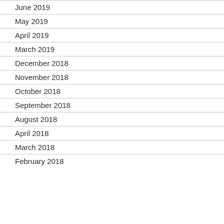June 2019
May 2019
April 2019
March 2019
December 2018
November 2018
October 2018
September 2018
August 2018
April 2018
March 2018
February 2018